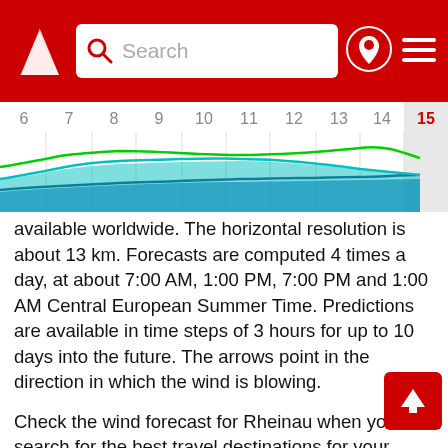Search [navigation header with logo, search bar, location icon, menu]
[Figure (continuous-plot): Wind forecast chart strip showing colored wave lines (green, cyan, blue, dark blue) over a timeline with hour labels 6 through 15, where 15 is highlighted in red on a grey background]
available worldwide. The horizontal resolution is about 13 km. Forecasts are computed 4 times a day, at about 7:00 AM, 1:00 PM, 7:00 PM and 1:00 AM Central European Summer Time. Predictions are available in time steps of 3 hours for up to 10 days into the future. The arrows point in the direction in which the wind is blowing.
Check the wind forecast for Rheinau when you search for the best travel destinations for your kiteboarding, windsurfing or sailing vacations in Germany. Or use our wind forecast to find the wind speed today in Rheinau or to have a look at the wind direction tomorrow at Rheinau.
Units  We use knots and degrees Celsius as our default units. These units are often used by sailors, kiters, surfers, windsurfers and paragliders. Use website settings to switch between units in 7 different languages at any time. For converting between wind